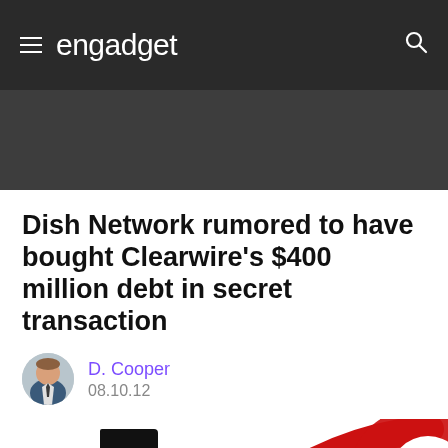engadget
Dish Network rumored to have bought Clearwire's $400 million debt in secret transaction
D. Cooper
08.10.12
[Figure (photo): Partial view of a stylized number or logo in red and black at the bottom of the page]